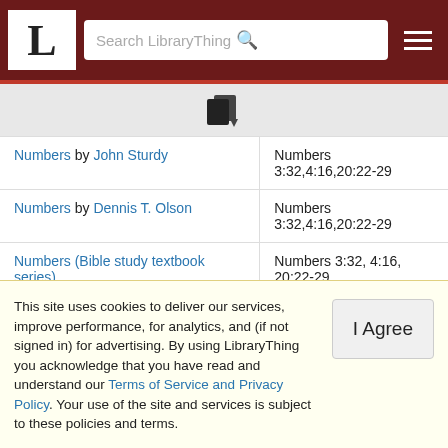LibraryThing — Search LibraryThing
[Figure (other): Sort/filter icon (stacked documents with arrow)]
| Book | Passages |
| --- | --- |
| Numbers by John Sturdy | Numbers 3:32,4:16,20:22-29 |
| Numbers by Dennis T. Olson | Numbers 3:32,4:16,20:22-29 |
| Numbers (Bible study textbook series) by Brant Lee Doty | Numbers 3:32, 4:16, 20:22-29 |
| Numbers (Brazos Theological Commentary on the Bible) by David L. ... | Numbers 3:32, 4:16, 20:22-29 |
This site uses cookies to deliver our services, improve performance, for analytics, and (if not signed in) for advertising. By using LibraryThing you acknowledge that you have read and understand our Terms of Service and Privacy Policy. Your use of the site and services is subject to these policies and terms.